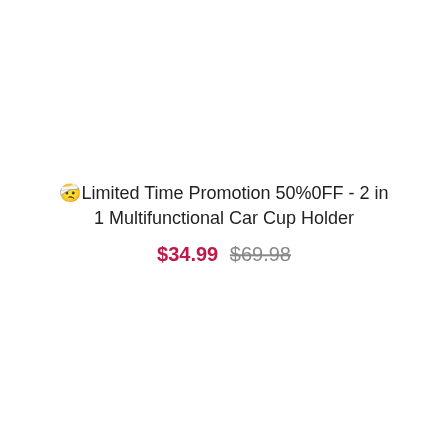🆕Limited Time Promotion 50%0FF - 2 in 1 Multifunctional Car Cup Holder
$34.99  $69.98